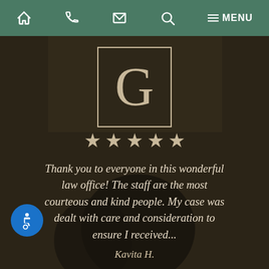Navigation bar with home, phone, email, search, and menu icons
[Figure (logo): Law firm logo: letter G in serif font inside a square border, tan/cream color on dark background]
[Figure (infographic): Five gold/cream stars representing 5-star review rating]
Thank you to everyone in this wonderful law office! The staff are the most courteous and kind people. My case was dealt with care and consideration to ensure I received...
Kavita H.